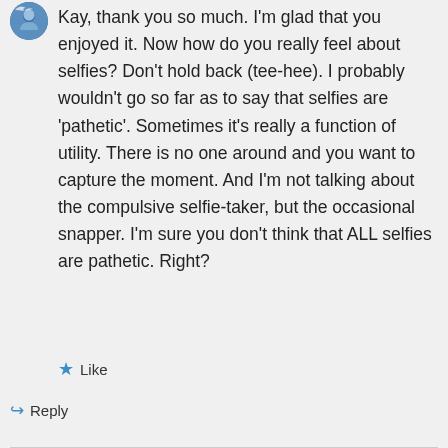Kay, thank you so much. I'm glad that you enjoyed it. Now how do you really feel about selfies? Don't hold back (tee-hee). I probably wouldn't go so far as to say that selfies are 'pathetic'. Sometimes it's really a function of utility. There is no one around and you want to capture the moment. And I'm not talking about the compulsive selfie-taker, but the occasional snapper. I'm sure you don't think that ALL selfies are pathetic. Right?
★ Like
↳ Reply